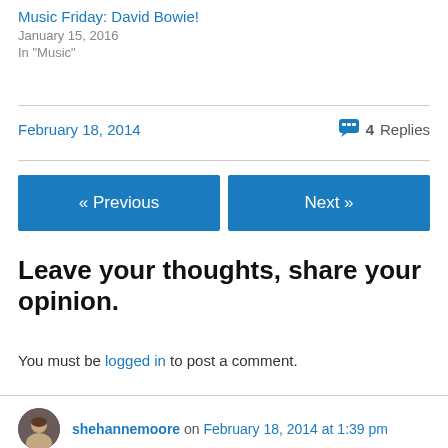Music Friday: David Bowie!
January 15, 2016
In "Music"
February 18, 2014
4 Replies
« Previous
Next »
Leave your thoughts, share your opinion.
You must be logged in to post a comment.
shehannemoore on February 18, 2014 at 1:39 pm